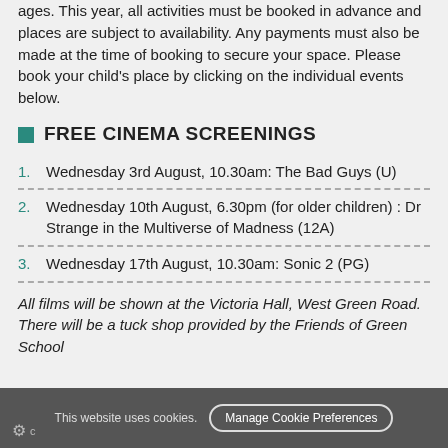ages. This year, all activities must be booked in advance and places are subject to availability. Any payments must also be made at the time of booking to secure your space. Please book your child's place by clicking on the individual events below.
FREE CINEMA SCREENINGS
Wednesday 3rd August, 10.30am: The Bad Guys (U)
Wednesday 10th August, 6.30pm (for older children) : Dr Strange in the Multiverse of Madness (12A)
Wednesday 17th August, 10.30am: Sonic 2 (PG)
All films will be shown at the Victoria Hall, West Green Road. There will be a tuck shop provided by the Friends of Green School
This website uses cookies. Manage Cookie Preferences